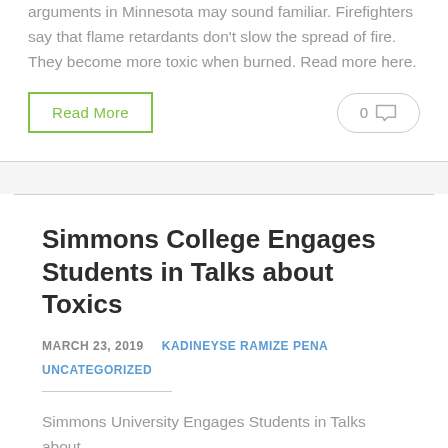arguments in Minnesota may sound familiar. Firefighters say that flame retardants don't slow the spread of fire. They become more toxic when burned. Read more here.
Read More
0
Simmons College Engages Students in Talks about Toxics
MARCH 23, 2019   KADINEYSE RAMIZE PENA
UNCATEGORIZED
Simmons University Engages Students in Talks about